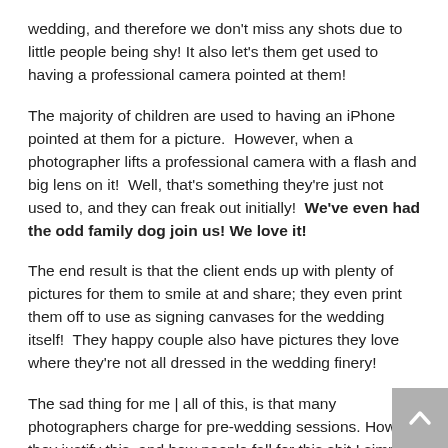wedding, and therefore we don't miss any shots due to little people being shy! It also let's them get used to having a professional camera pointed at them!
The majority of children are used to having an iPhone pointed at them for a picture.  However, when a photographer lifts a professional camera with a flash and big lens on it!  Well, that's something they're just not used to, and they can freak out initially!  We've even had the odd family dog join us! We love it!
The end result is that the client ends up with plenty of pictures for them to smile at and share; they even print them off to use as signing canvases for the wedding itself!  They happy couple also have pictures they love where they're not all dressed in the wedding finery!
The sad thing for me | all of this, is that many photographers charge for pre-wedding sessions. How they justify this, and how people fall for this shit I simply do not know!